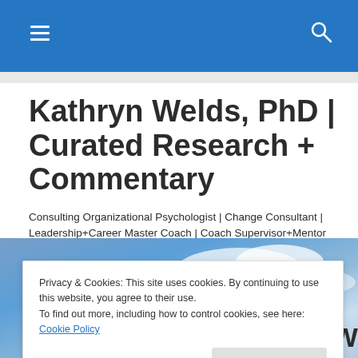Kathryn Welds, PhD | Curated Research + Commentary
Consulting Organizational Psychologist | Change Consultant | Leadership+Career Master Coach | Coach Supervisor+Mentor Coach |
[Figure (photo): Blue sky with clouds background image, partially visible]
Privacy & Cookies: This site uses cookies. By continuing to use this website, you agree to their use.
To find out more, including how to control cookies, see here: Cookie Policy
Close and accept
together. Silicon Valley Women